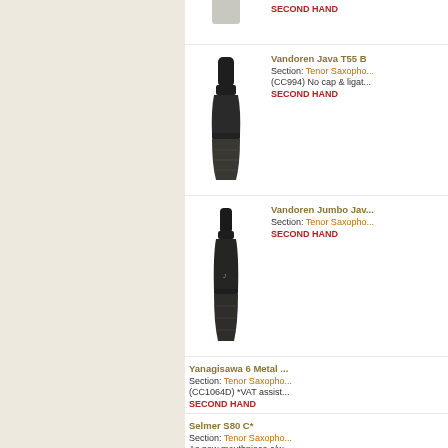[Figure (photo): Saxophone mouthpiece, partially clipped at top, with SECOND HAND label]
SECOND HAND
[Figure (photo): Vandoren Java T55 B mouthpiece for Tenor Saxophone]
Vandoren Java T55 B
Section: Tenor Saxophone
(CC994) No cap & ligature
SECOND HAND
[Figure (photo): Vandoren Jumbo Java mouthpiece for Tenor Saxophone]
Vandoren Jumbo Java
Section: Tenor Saxophone
SECOND HAND
Yanagisawa 6 Metal
Section: Tenor Saxophone
(CC1064D) *VAT assist
SECOND HAND
Selmer S80 C*
Section: Tenor Saxophone
As new mouthpiece c/w
SECOND HAND
Meyer 8SS